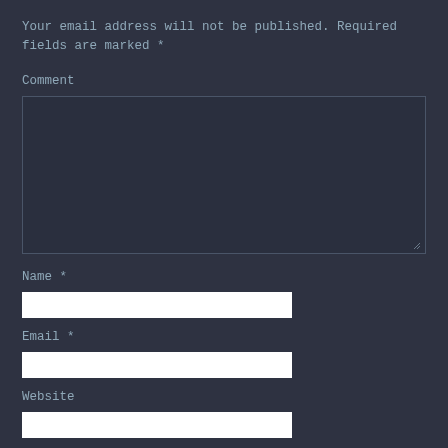Your email address will not be published. Required fields are marked *
Comment
[Figure (other): Large comment text area input box with resize handle]
Name *
[Figure (other): Name text input field]
Email *
[Figure (other): Email text input field]
Website
[Figure (other): Website text input field]